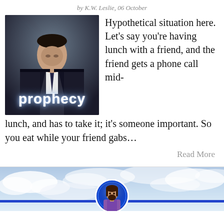by K.W. Leslie, 06 October
[Figure (photo): A man in a dark suit looking downward, with the word 'prophecy' overlaid in white glowing text at the bottom of the image.]
Hypothetical situation here. Let’s say you’re having lunch with a friend, and the friend gets a phone call mid-lunch, and has to take it; it’s someone important. So you eat while your friend gabs…
Read More
[Figure (illustration): Footer image showing a sky with clouds and a blue horizontal bar. A circular icon of Jesus is centered overlapping the blue bar at the bottom.]